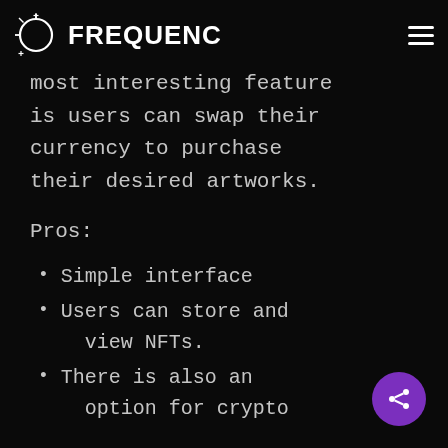FREQUENC
infinity, etc. You can crypto stalking. The most interesting feature is users can swap their currency to purchase their desired artworks.
Pros:
Simple interface
Users can store and view NFTs.
There is also an option for crypto